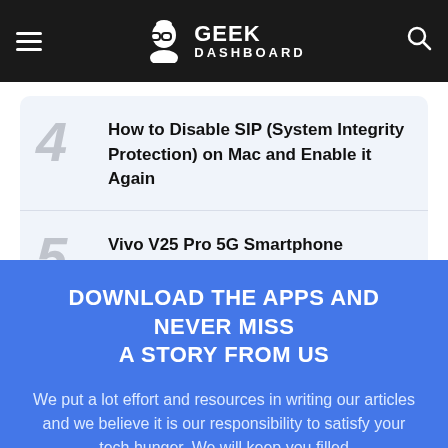GEEK DASHBOARD
4 How to Disable SIP (System Integrity Protection) on Mac and Enable it Again
5 Vivo V25 Pro 5G Smartphone Launched with MediaTek Dimensity Chipset in India
DOWNLOAD THE APPS AND NEVER MISS A STORY FROM US
We put a lot effort and resources in writing our articles and we believe it is our responsibility to satisfy your tech hunger. We will keep you filled